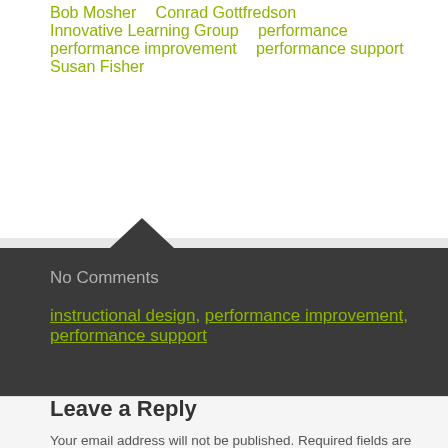Bob Mosher · Conrad Gottfredson · Innovative Learning Group · performance · performance improvement · performance support · Susan Fisher
No Comments
instructional design, performance improvement, performance support
Leave a Reply
Your email address will not be published. Required fields are marked *